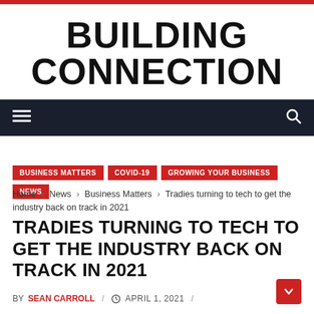BUILDING CONNECTION
Navigation bar with hamburger menu and search icon
BUSINESS MATTERS  COVID-19  GROWING YOUR BUSINESS  NEWS
Home › News › Business Matters › Tradies turning to tech to get the industry back on track in 2021
TRADIES TURNING TO TECH TO GET THE INDUSTRY BACK ON TRACK IN 2021
BY SEAN CARROLL / APRIL 1, 2021 /